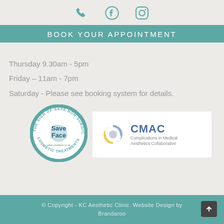[Figure (other): Social media icons: phone, Facebook, Instagram]
BOOK YOUR APPOINTMENT
Thursday 9.30am - 5pm
Friday – 11am - 7pm
Saturday - Please see booking system for details.
[Figure (logo): Save Face - The Sign of Safe Non-Surgical Cosmetic Treatments circular logo]
[Figure (logo): CMAC - Complications in Medical Aesthetics Collaborative logo]
© Copyright - KC Aesthetic Clinic. Website Design by Brandaroo